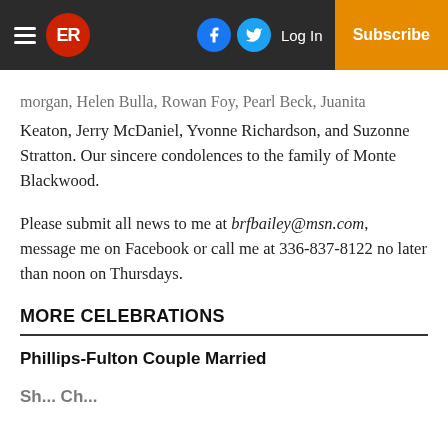ER | Log In | Subscribe
morgan, Helen Bulla, Rowan Foy, Pearl Beck, Juanita Keaton, Jerry McDaniel, Yvonne Richardson, and Suzonne Stratton. Our sincere condolences to the family of Monte Blackwood.
Please submit all news to me at brfbailey@msn.com, message me on Facebook or call me at 336-837-8122 no later than noon on Thursdays.
MORE CELEBRATIONS
Phillips-Fulton Couple Married